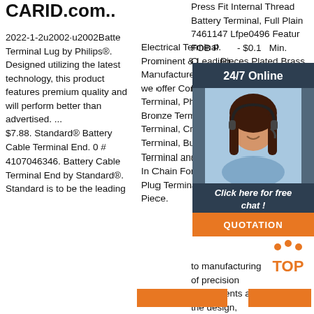CARID.com..
2022-1-2u2002·u2002Battery Terminal Lug by Philips®. Designed utilizing the latest technology, this product features premium quality and will perform better than advertised. ... $7.88. Standard® Battery Cable Terminal End. 0 # 4107046346. Battery Cable Terminal End by Standard®. Standard is to be the leading
Electrical Terminal. Prominent & Leading Manufacturer from Mumbai, we offer Common Plug Terminal, Phosphorus Bronze Terminal, Cord Terminal, Crocodile Terminal, Bulb Holder Terminal and Brass Terminal In Chain Form. Common Plug Terminal. Rs 1.50 Piece.
Press Fit Internal Thread Battery Terminal, Full Plain 7461147 Lfpe0496 Features FOB P - $0.19 Min. O Pieces Plated Brass T for PC Conne Block, saiL is to manufacturing of precision components and the design, fabrication of ...
[Figure (illustration): 24/7 Online chat widget with woman wearing headset, dark background, orange QUOTATION button and 'Click here for free chat!' link]
[Figure (illustration): Orange button at bottom of column 2]
[Figure (illustration): Orange button at bottom right column]
[Figure (illustration): TOP badge with orange dots and text]